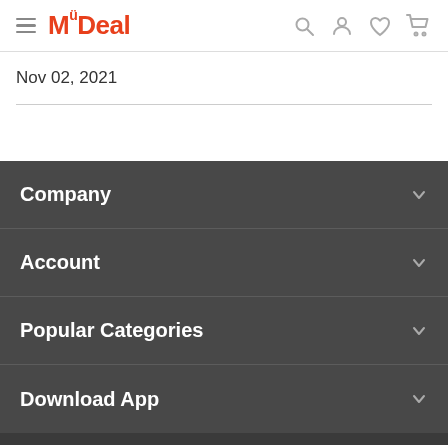MyDeal
Nov 02, 2021
Company
Account
Popular Categories
Download App